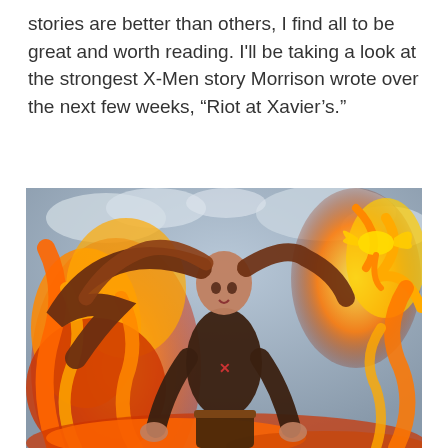stories are better than others, I find all to be great and worth reading. I'll be taking a look at the strongest X-Men story Morrison wrote over the next few weeks, “Riot at Xavier’s.”
[Figure (illustration): Comic book illustration of a female character with long flowing red-brown hair surrounded by fire and flames, wearing a dark outfit with an X symbol on the chest. A phoenix bird made of fire appears in the upper right background against a cloudy sky.]